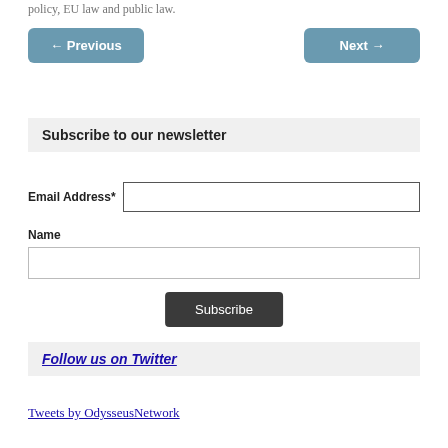policy, EU law and public law.
← Previous    Next →
Subscribe to our newsletter
Email Address*
Name
Subscribe
Follow us on Twitter
Tweets by OdysseusNetwork